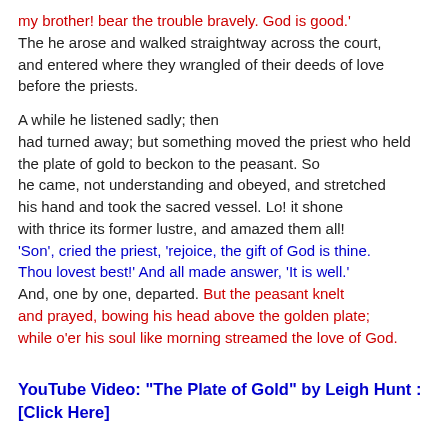my brother! bear the trouble bravely. God is good.' The he arose and walked straightway across the court, and entered where they wrangled of their deeds of love before the priests.
A while he listened sadly; then had turned away; but something moved the priest who held the plate of gold to beckon to the peasant. So he came, not understanding and obeyed, and stretched his hand and took the sacred vessel. Lo! it shone with thrice its former lustre, and amazed them all! 'Son', cried the priest, 'rejoice, the gift of God is thine. Thou lovest best!' And all made answer, 'It is well.' And, one by one, departed. But the peasant knelt and prayed, bowing his head above the golden plate; while o'er his soul like morning streamed the love of God.
YouTube Video: "The Plate of Gold" by Leigh Hunt : [Click Here]